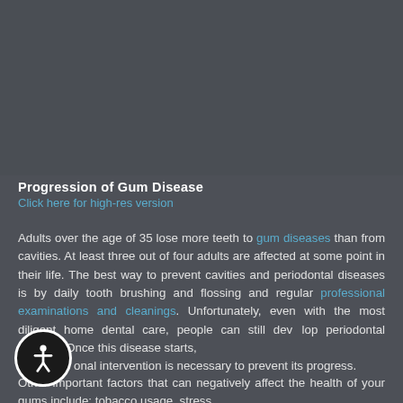[Figure (photo): Gray background area representing an image placeholder for 'Progression of Gum Disease' infographic]
Progression of Gum Disease
Click here for high-res version
Adults over the age of 35 lose more teeth to gum diseases than from cavities. At least three out of four adults are affected at some point in their life. The best way to prevent cavities and periodontal diseases is by daily tooth brushing and flossing and regular professional examinations and cleanings. Unfortunately, even with the most diligent home dental care, people can still develop periodontal disease. Once this disease starts, professional intervention is necessary to prevent its progress.
Other important factors that can negatively affect the health of your gums include: tobacco usage, stress,